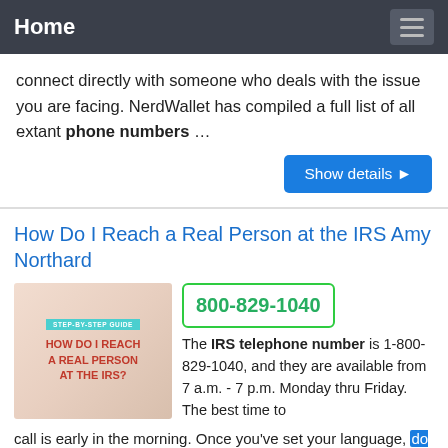Home
connect directly with someone who deals with the issue you are facing. NerdWallet has compiled a full list of all extant phone numbers …
How Do I Reach a Real Person at the IRS Amy Northard
[Figure (photo): Blog post thumbnail showing a step-by-step guide titled 'HOW DO I REACH A REAL PERSON AT THE IRS?' with decorative items in the background]
800-829-1040 The IRS telephone number is 1-800-829-1040, and they are available from 7 a.m. - 7 p.m. Monday thru Friday. The best time to call is early in the morning. Once you've set your language, do NOT choose Option 1 (regarding refund info). Choose